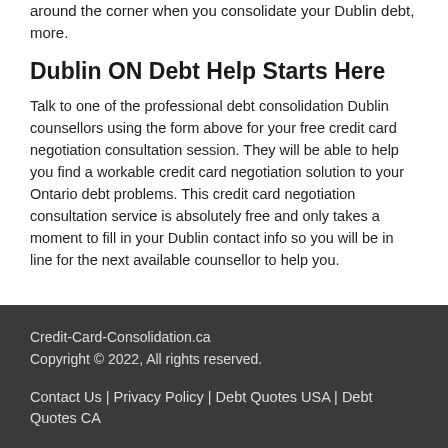around the corner when you consolidate your Dublin debt, more.
Dublin ON Debt Help Starts Here
Talk to one of the professional debt consolidation Dublin counsellors using the form above for your free credit card negotiation consultation session. They will be able to help you find a workable credit card negotiation solution to your Ontario debt problems. This credit card negotiation consultation service is absolutely free and only takes a moment to fill in your Dublin contact info so you will be in line for the next available counsellor to help you.
Credit-Card-Consolidation.ca Copyright © 2022, All rights reserved. Contact Us | Privacy Policy | Debt Quotes USA | Debt Quotes CA